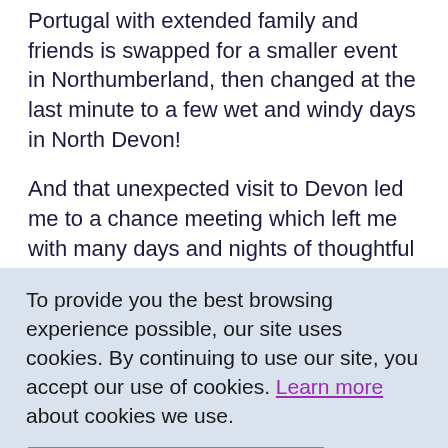Portugal with extended family and friends is swapped for a smaller event in Northumberland, then changed at the last minute to a few wet and windy days in North Devon!
And that unexpected visit to Devon led me to a chance meeting which left me with many days and nights of thoughtful reflection.
Towering above Ilfracombe Harbour, holding aloft
To provide you the best browsing experience possible, our site uses cookies. By continuing to use our site, you accept our use of cookies. Learn more about cookies we use.